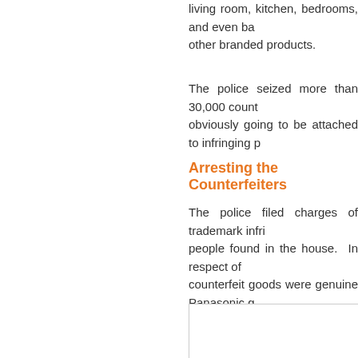living room, kitchen, bedrooms, and even ba other branded products.
The police seized more than 30,000 count obviously going to be attached to infringing p
Arresting the Counterfeiters
The police filed charges of trademark infri people found in the house. In respect o counterfeit goods were genuine Panasonic g order to mislead the public, under the Tha without a work permit under Thailand's immi
[Figure (photo): Photograph (broken/missing image placeholder) showing content related to the counterfeiting raid]